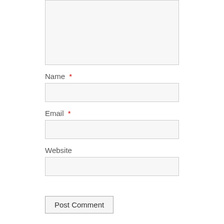[Figure (screenshot): Comment form textarea (top portion, clipped)]
Name *
[Figure (screenshot): Name input field]
Email *
[Figure (screenshot): Email input field]
Website
[Figure (screenshot): Website input field]
Post Comment
Notify me of new comments via email.
Notify me of new posts via email.